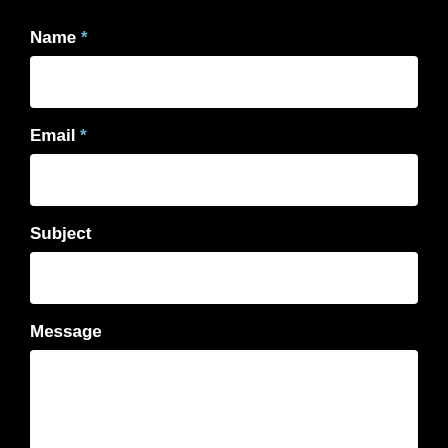Name *
[Figure (screenshot): Empty white input field for Name]
Email *
[Figure (screenshot): Empty white input field for Email]
Subject
[Figure (screenshot): Empty white input field for Subject]
Message
[Figure (screenshot): Empty white textarea for Message]
Captcha
[Figure (screenshot): Partially visible white input field for Captcha]